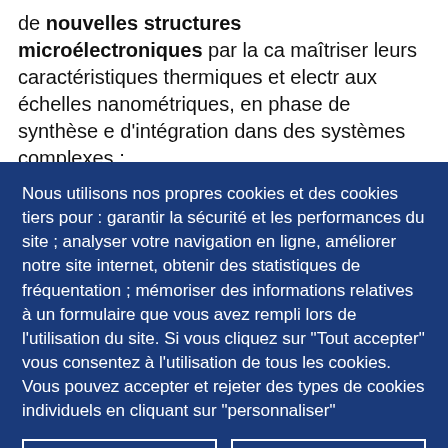de nouvelles structures microélectroniques par la ca maîtriser leurs caractéristiques thermiques et electr aux échelles nanométriques, en phase de synthèse e d'intégration dans des systèmes complexes ;
Nous utilisons nos propres cookies et des cookies tiers pour : garantir la sécurité et les performances du site ; analyser votre navigation en ligne, améliorer notre site internet, obtenir des statistiques de fréquentation ; mémoriser des informations relatives à un formulaire que vous avez rempli lors de l'utilisation du site. Si vous cliquez sur "Tout accepter" vous consentez à l'utilisation de tous les cookies. Vous pouvez accepter et rejeter des types de cookies individuels en cliquant sur "personnaliser"
PERSONNALISER
TOUT ACCEPTER